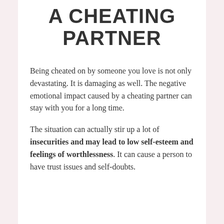A CHEATING PARTNER
Being cheated on by someone you love is not only devastating. It is damaging as well. The negative emotional impact caused by a cheating partner can stay with you for a long time.
The situation can actually stir up a lot of insecurities and may lead to low self-esteem and feelings of worthlessness. It can cause a person to have trust issues and self-doubts.